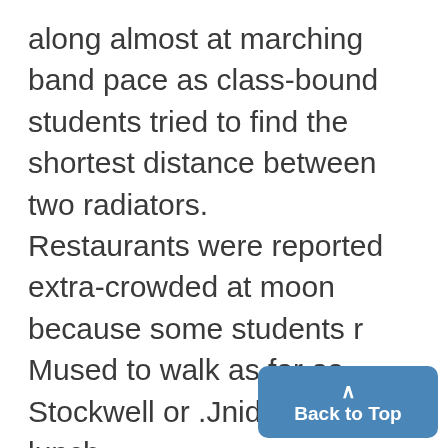along almost at marching band pace as class-bound students tried to find the shortest distance between two radiators. Restaurants were reported extra-crowded at moon because some students r Mused to walk as far as Stockwell or .Jnidan for lunch. Winter sports en thusiasts still think they have been short-changed this winter. They have grudgingly waved goodbye to F ruary, and dubbed its final at-